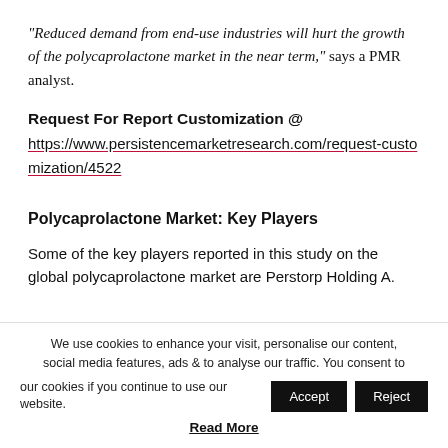“Reduced demand from end-use industries will hurt the growth of the polycaprolactone market in the near term,” says a PMR analyst.
Request For Report Customization @ https://www.persistencemarketresearch.com/request-customization/4522
Polycaprolactone Market: Key Players
Some of the key players reported in this study on the global polycaprolactone market are Perstorp Holding A.
We use cookies to enhance your visit, personalise our content, social media features, ads & to analyse our traffic. You consent to our cookies if you continue to use our website. Accept Reject Read More